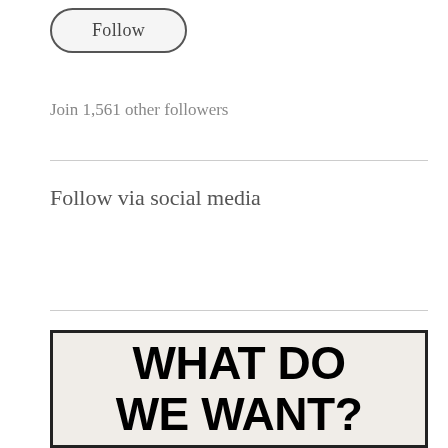[Figure (screenshot): A rounded rectangle button labeled 'Follow']
Join 1,561 other followers
Follow via social media
[Figure (illustration): A sign with bold black text reading 'WHAT DO WE WANT?' on a light beige background with a black border]